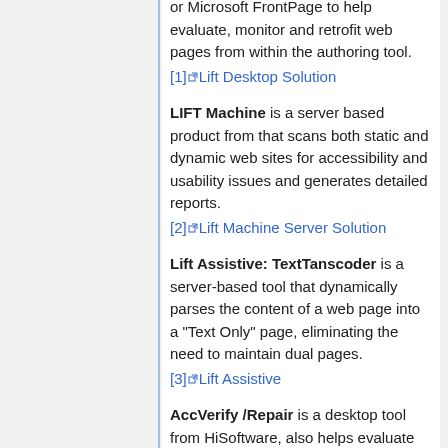or Microsoft FrontPage to help evaluate, monitor and retrofit web pages from within the authoring tool. [1] Lift Desktop Solution
LIFT Machine is a server based product from that scans both static and dynamic web sites for accessibility and usability issues and generates detailed reports. [2] Lift Machine Server Solution
Lift Assistive: TextTanscoder is a server-based tool that dynamically parses the content of a web page into a "Text Only" page, eliminating the need to maintain dual pages. [3] Lift Assistive
AccVerify /Repair is a desktop tool from HiSoftware, also helps evaluate and retrofit web content...